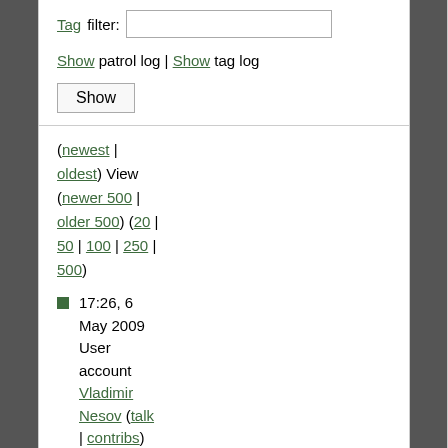Tag filter: [input box]
Show patrol log | Show tag log
Show [button]
(newest | oldest) View (newer 500 | older 500) (20 | 50 | 100 | 250 | 500)
17:26, 6 May 2009 User account Vladimir Nesov (talk | contribs) was created
16:44, 6 May 2009 User